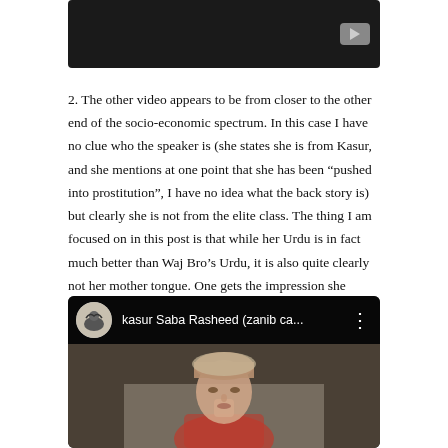[Figure (screenshot): YouTube video thumbnail — dark/black background with a YouTube play button icon in the top-right corner]
2. The other video appears to be from closer to the other end of the socio-economic spectrum. In this case I have no clue who the speaker is (she states she is from Kasur, and she mentions at one point that she has been “pushed into prostitution”, I have no idea what the back story is) but clearly she is not from the elite class. The thing I am focused on in this post is that while her Urdu is in fact much better than Waj Bro’s Urdu, it is also quite clearly not her mother tongue. One gets the impression she would have done better in Punjabi.
[Figure (screenshot): YouTube video embed showing 'kasur Saba Rasheed (zanib ca...' with channel icon (eagle/bird image) on the left, title text, three-dot menu, and video showing a woman's face in the lower portion]